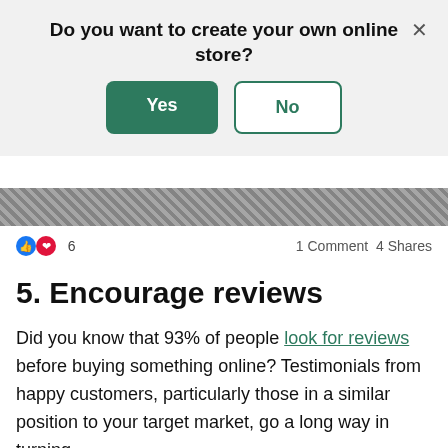Do you want to create your own online store?
[Figure (screenshot): Modal dialog with Yes (green filled button) and No (green outline button) options, and an X close button in the top right corner]
[Figure (photo): Partially visible image strip showing a dark/nature photo cropped at the top]
6   1 Comment  4 Shares
5. Encourage reviews
Did you know that 93% of people look for reviews before buying something online? Testimonials from happy customers, particularly those in a similar position to your target market, go a long way in turning